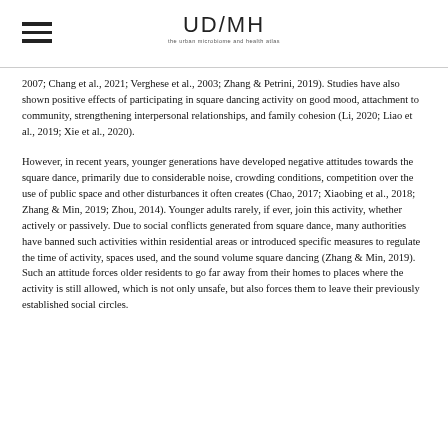UD/MH
2007; Chang et al., 2021; Verghese et al., 2003; Zhang & Petrini, 2019). Studies have also shown positive effects of participating in square dancing activity on good mood, attachment to community, strengthening interpersonal relationships, and family cohesion (Li, 2020; Liao et al., 2019; Xie et al., 2020).
However, in recent years, younger generations have developed negative attitudes towards the square dance, primarily due to considerable noise, crowding conditions, competition over the use of public space and other disturbances it often creates (Chao, 2017; Xiaobing et al., 2018; Zhang & Min, 2019; Zhou, 2014). Younger adults rarely, if ever, join this activity, whether actively or passively. Due to social conflicts generated from square dance, many authorities have banned such activities within residential areas or introduced specific measures to regulate the time of activity, spaces used, and the sound volume square dancing (Zhang & Min, 2019). Such an attitude forces older residents to go far away from their homes to places where the activity is still allowed, which is not only unsafe, but also forces them to leave their previously established social circles.